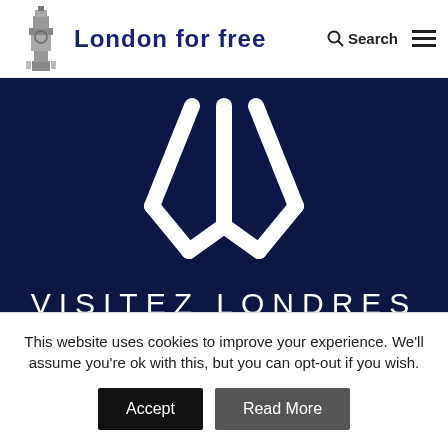London for free
[Figure (logo): Visitez Londres logo — white angular V-shaped chevron mark on dark navy background with text VISITEZ LONDRES below]
Map Channels
This website uses cookies to improve your experience. We'll assume you're ok with this, but you can opt-out if you wish.